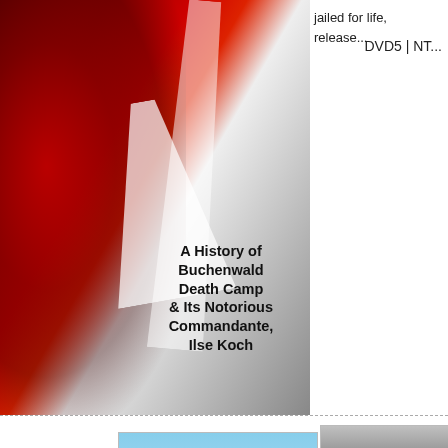[Figure (photo): DVD cover of 'The Bitch of Buchenwald' with red and white graphic design and bold text overlay reading 'A History of Buchenwald Death Camp & Its Notorious Commandante, Ilse Koch']
jailed for life, release...
DVD5 | NT...
[Figure (photo): Small thumbnail showing outdoor scene with trees and sky]
[Figure (photo): Small black and white thumbnail showing industrial or camp structures]
Download The Bitch of Buchenwald (2009) DVD5:
Bitch.of.Buchenwald.2009.U.part1.rar
Bitch.of.Buchenwald.2009.U.part2.rar